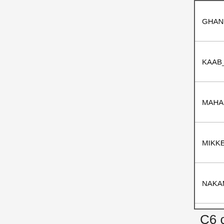| GHANDHI_BYSTANDER_IRRADIATION_DN |
| KAAB_HEART_ATRIUM_VS_VENTRICLE_DN |
| MAHADEVAN_RESPONSE_TO_MP470_DN |
| MIKKELSEN_NPC_ICP_WITH_H3K4ME3 |
| NAKAMURA_METASTASIS_MODEL_DN |
| PETROVA_ENDOTHELIUM_LYMPHATIC_VS_E |
| ST_INTERLEUKIN_13_PATHWAY |
C6 collection